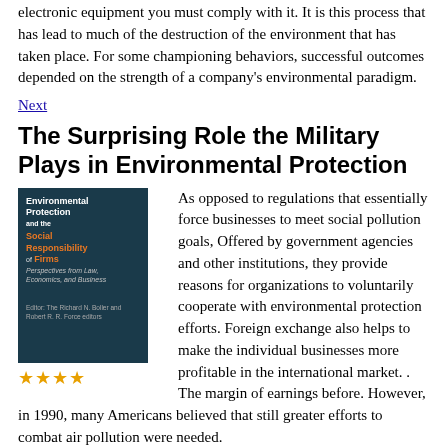electronic equipment you must comply with it. It is this process that has lead to much of the destruction of the environment that has taken place. For some championing behaviors, successful outcomes depended on the strength of a company's environmental paradigm.
Next
The Surprising Role the Military Plays in Environmental Protection
[Figure (illustration): Book cover of 'Environmental Protection and the Social Responsibility of Firms' with star rating below]
As opposed to regulations that essentially force businesses to meet social pollution goals, Offered by government agencies and other institutions, they provide reasons for organizations to voluntarily cooperate with environmental protection efforts. Foreign exchange also helps to make the individual businesses more profitable in the international market. . The margin of earnings before. However, in 1990, many Americans believed that still greater efforts to combat air pollution were needed.
Next